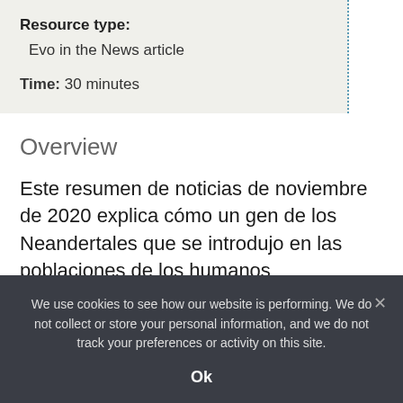Resource type:
Evo in the News article
Time: 30 minutes
Overview
Este resumen de noticias de noviembre de 2020 explica cómo un gen de los Neandertales que se introdujo en las poblaciones de los humanos
We use cookies to see how our website is performing. We do not collect or store your personal information, and we do not track your preferences or activity on this site.
Ok